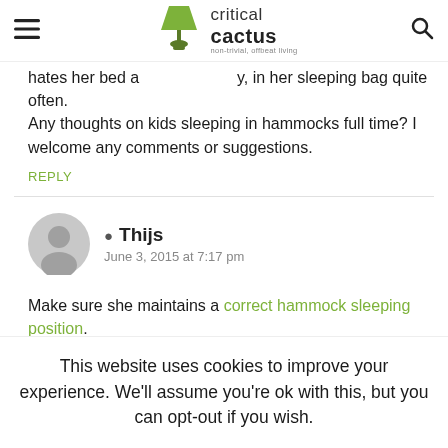critical cactus — non-trivial, offbeat living
hates her bed a [logo] y, in her sleeping bag quite often.
Any thoughts on kids sleeping in hammocks full time? I welcome any comments or suggestions.
REPLY
Thijs
June 3, 2015 at 7:17 pm
Make sure she maintains a correct hammock sleeping position.
REPLY
This website uses cookies to improve your experience. We'll assume you're ok with this, but you can opt-out if you wish.